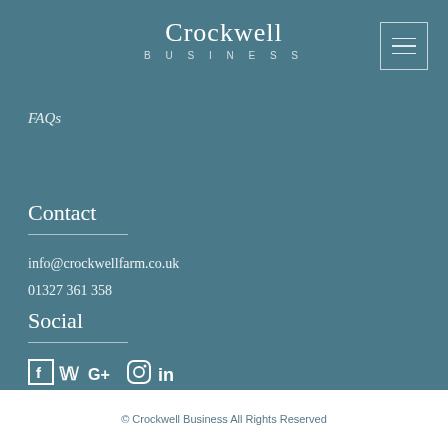Crockwell BUSINESS
FAQs
Contact
info@crockwellfarm.co.uk
01327 361 358
Social
[Figure (illustration): Social media icons: Facebook, Twitter, Google+, Instagram, LinkedIn]
© Crockwell Business All Rights Reserved